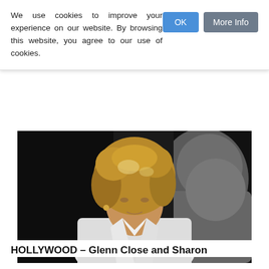We use cookies to improve your experience on our website. By browsing this website, you agree to our use of cookies.
[Figure (photo): A woman with curly blonde-brown hair wearing a white blazer sits across from a man whose back is to the camera, in a dimly lit scene.]
HOLLYWOOD – Glenn Close and Sharon